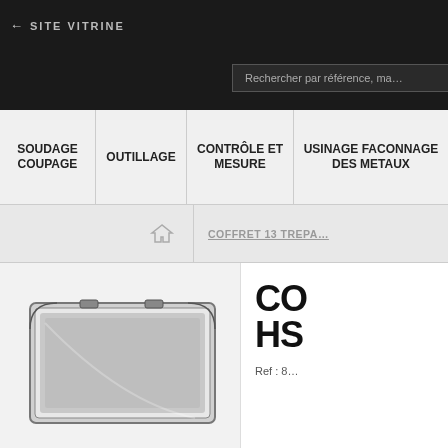← SITE VITRINE
Rechercher par référence, ma…
SOUDAGE COUPAGE
OUTILLAGE
CONTRÔLE ET MESURE
USINAGE FACONNAGE DES METAUX
COFFRET 13 TREPA…
CO HS
Ref : 8…